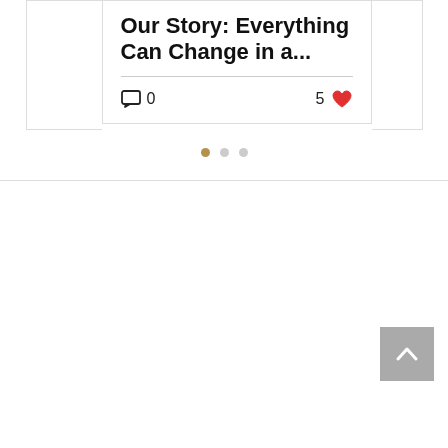Our Story: Everything Can Change in a...
0 comments, 5 likes
[Figure (other): Carousel pagination dots: one active (tan/gold), two inactive (grey)]
[Figure (other): Back to top button: grey square with white upward chevron arrow]